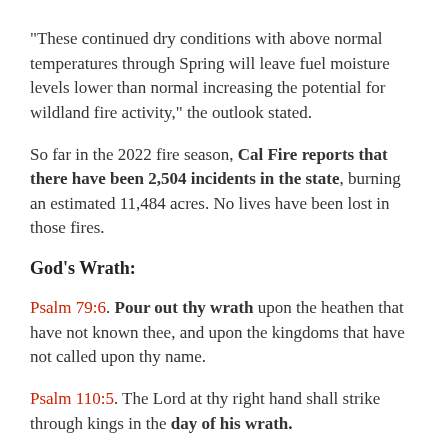“These continued dry conditions with above normal temperatures through Spring will leave fuel moisture levels lower than normal increasing the potential for wildland fire activity,” the outlook stated.
So far in the 2022 fire season, Cal Fire reports that there have been 2,504 incidents in the state, burning an estimated 11,484 acres. No lives have been lost in those fires.
God’s Wrath:
Psalm 79:6. Pour out thy wrath upon the heathen that have not known thee, and upon the kingdoms that have not called upon thy name.
Psalm 110:5. The Lord at thy right hand shall strike through kings in the day of his wrath.
Proverbs 11:4. Riches profit not in the day of wrath: